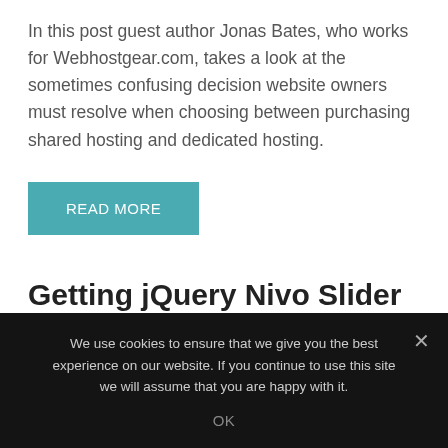In this post guest author Jonas Bates, who works for Webhostgear.com, takes a look at the sometimes confusing decision website owners must resolve when choosing between purchasing shared hosting and dedicated hosting.
READ MORE
Getting jQuery Nivo Slider
We use cookies to ensure that we give you the best experience on our website. If you continue to use this site we will assume that you are happy with it.
OK